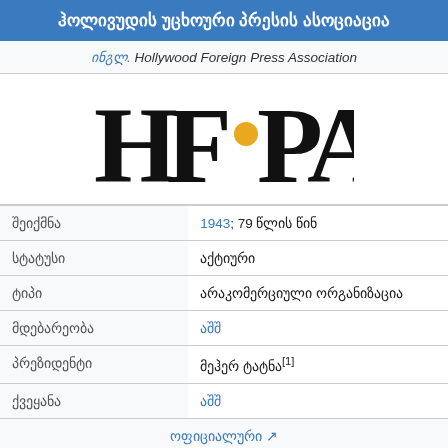ჰოლივუდის უცხოური პრესის ასოციაცია
ინგლ. Hollywood Foreign Press Association
[Figure (logo): HFPA logo — large serif letters H F A with an orange/gold dot replacing the dot of a stylized letter, black text on white background]
| Field | Value |
| --- | --- |
| შეიქმნა | 1943; 79 წლის წინ |
| სტატუსი | აქტიური |
| ტიპი | არაკომერციული ორგანიზაცია |
| მდებარეობა | აშშ |
| პრეზიდენტი | მეჰერ ტატნა[1] |
| ქვეყანა | აშშ |
|  | ოფიციალური |